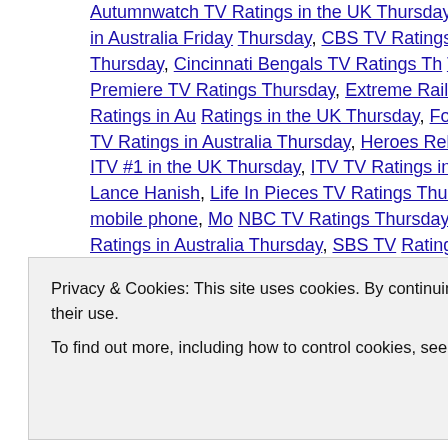Autumnwatch TV Ratings in the UK Thursday, BBC One TV Ratings in the UK Thursday, Better Homes & Gardens #1 non-news program in Australia Friday Thursday, CBS TV Ratings Thursday, Celebrity Juice TV Ratings in the UK Thursday, Channel 5 TV Ratings in the UK Thursday, Cincinnati Bengals TV Ratings Thursday, Cleveland Browns TV Ratings Thursday, CNA|SOPHIS, E4 TV Ratings Season Premiere TV Ratings Thursday, Extreme Railway TV Ratings in the UK Thursday, First Test Australia vs New Zealand Session 3 TV Ratings in Australia, Ratings in the UK Thursday, For The Love Of The Dogs #1 in the UK Thursday, TV Ratings in the UK Thursday, Googlebox TV Ratings in Australia Thursday, Heroes Reborn TV Ratings Thursday, Home and Away TV Ratings in Australia TV Ratings Thursday, ITV #1 in the UK Thursday, ITV TV Ratings in the UK Thursday, Jamie's Super Foods TV Ratings in Australia Thursday, Kitchen Impossible, Lance Hanish, Life In Pieces TV Ratings Thursday, LIVE+7 Prime Time Ratings, Ratings in the UK Thursday, Martin Cooper inventor of the mobile phone, NBC TV Ratings Thursday, Nine News #1 newscast in Australia Thursday, Ratings in Australia Thursday, RBT TV Ratings in Australia Thursday, SBS TV Ratings in Australia Thursday, Scandal TV Ratings Thursday, Seven #1 in Australia Friday, Seven News #1 newscast in Australia Friday, Seven TV Ratings in Australia Thursday
Privacy & Cookies: This site uses cookies. By continuing to use this website, you agree to their use.
To find out more, including how to control cookies, see here: Our Cookie Policy